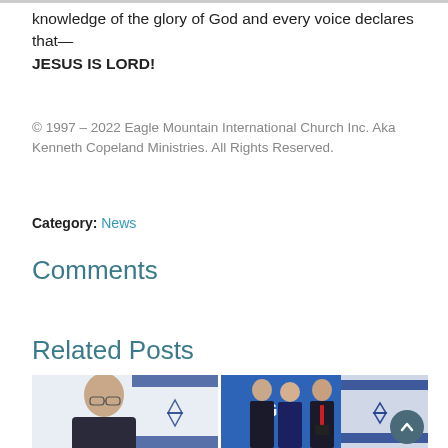knowledge of the glory of God and every voice declares that—JESUS IS LORD!
© 1997 – 2022 Eagle Mountain International Church Inc. Aka Kenneth Copeland Ministries. All Rights Reserved.
Category: News
Comments
Related Posts
[Figure (photo): Two photos side by side: left shows a man with glasses in front of an Israeli flag (official portrait style); right shows three people standing together — a tall man in dark suit, a woman with short blonde hair in dark jacket, and an older man in dark suit with red tie holding a book, with Israeli flag background and blue screen with 'G' visible.]